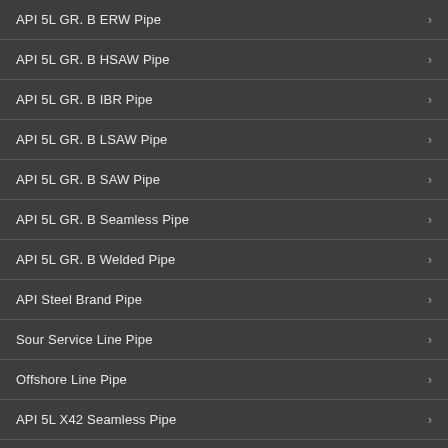API 5L GR. B ERW Pipe
API 5L GR. B HSAW Pipe
API 5L GR. B IBR Pipe
API 5L GR. B LSAW Pipe
API 5L GR. B SAW Pipe
API 5L GR. B Seamless Pipe
API 5L GR. B Welded Pipe
API Steel Brand Pipe
Sour Service Line Pipe
Offshore Line Pipe
API 5L X42 Seamless Pipe